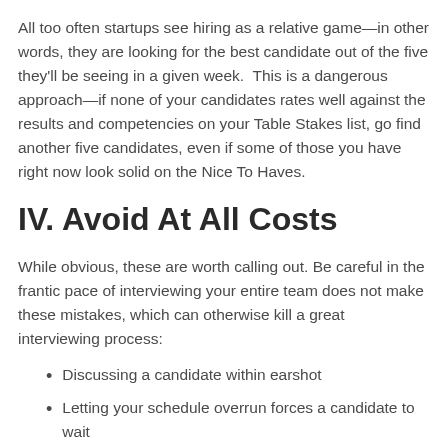All too often startups see hiring as a relative game—in other words, they are looking for the best candidate out of the five they'll be seeing in a given week.  This is a dangerous approach—if none of your candidates rates well against the results and competencies on your Table Stakes list, go find another five candidates, even if some of those you have right now look solid on the Nice To Haves.
IV. Avoid At All Costs
While obvious, these are worth calling out. Be careful in the frantic pace of interviewing your entire team does not make these mistakes, which can otherwise kill a great interviewing process:
Discussing a candidate within earshot
Letting your schedule overrun forces a candidate to wait
Picking up your phone — don't even bring it into the